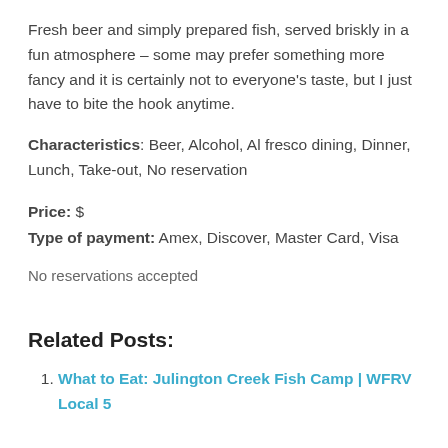Fresh beer and simply prepared fish, served briskly in a fun atmosphere – some may prefer something more fancy and it is certainly not to everyone's taste, but I just have to bite the hook anytime.
Characteristics: Beer, Alcohol, Al fresco dining, Dinner, Lunch, Take-out, No reservation
Price: $
Type of payment: Amex, Discover, Master Card, Visa
No reservations accepted
Related Posts:
What to Eat: Julington Creek Fish Camp | WFRV Local 5